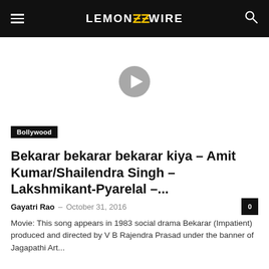LEMON ZZ WIRE
[Figure (screenshot): Video thumbnail area with a gray circular play button icon in the center on white background]
Bollywood
Bekarar bekarar bekarar kiya – Amit Kumar/Shailendra Singh – Lakshmikant-Pyarelal –...
Gayatri Rao – October 31, 2016
Movie: This song appears in 1983 social drama Bekarar (Impatient) produced and directed by V B Rajendra Prasad under the banner of Jagapathi Art...